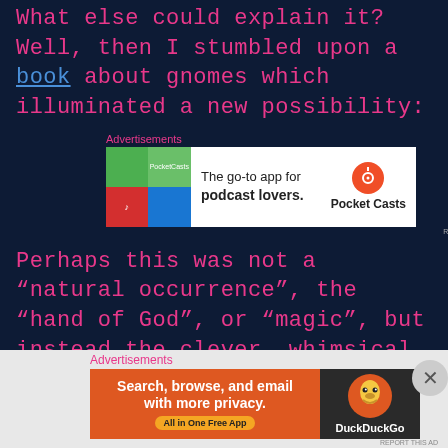What else could explain it? Well, then I stumbled upon a book about gnomes which illuminated a new possibility:
[Figure (screenshot): Advertisement banner for Pocket Casts: colorful app icon tiles on left, text 'The go-to app for podcast lovers.' with Pocket Casts logo on right]
Perhaps this was not a “natural occurrence”, the “hand of God”, or “magic”, but instead the clever, whimsical handiwork of a garden gnome who had been living in the windmill on the property.
Gnomes are known to occupy windmills
[Figure (screenshot): Advertisement banner for DuckDuckGo: orange left panel with 'Search, browse, and email with more privacy. All in One Free App', dark right panel with DuckDuckGo logo duck icon]